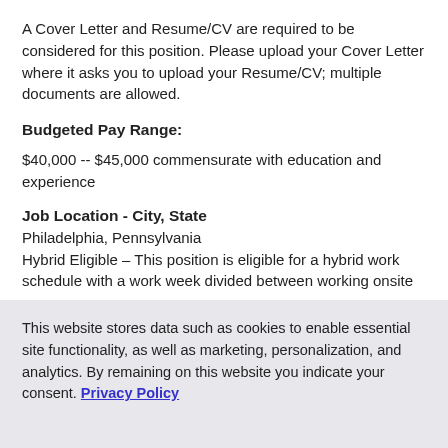A Cover Letter and Resume/CV are required to be considered for this position. Please upload your Cover Letter where it asks you to upload your Resume/CV; multiple documents are allowed.
Budgeted Pay Range:
$40,000 -- $45,000 commensurate with education and experience
Job Location - City, State
Philadelphia, Pennsylvania
Hybrid Eligible - This position is eligible for a hybrid work schedule with a work week divided between working onsite
This website stores data such as cookies to enable essential site functionality, as well as marketing, personalization, and analytics. By remaining on this website you indicate your consent. Privacy Policy